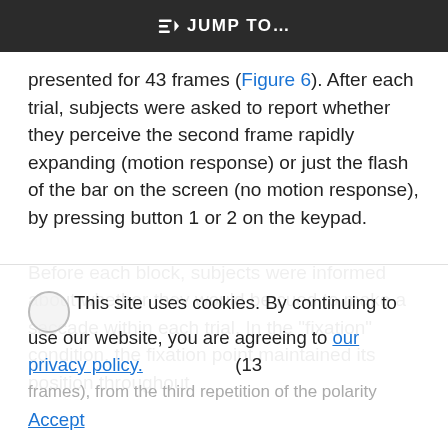JUMP TO...
presented for 43 frames (Figure 6). After each trial, subjects were asked to report whether they perceive the second frame rapidly expanding (motion response) or just the flash of the bar on the screen (no motion response), by pressing button 1 or 2 on the keypad.
Before each block, subjects were informed about whether they would be cued to make a saccade within each trial. In the “fixation” condition, the fixation point maintained its position throughout
This site uses cookies. By continuing to use our website, you are agreeing to our privacy policy. Accept